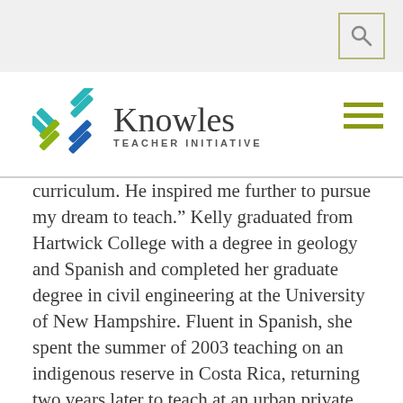[Figure (logo): Knowles Teacher Initiative logo with geometric X mark in blue, teal, and green colors]
curriculum. He inspired me further to pursue my dream to teach.” Kelly graduated from Hartwick College with a degree in geology and Spanish and completed her graduate degree in civil engineering at the University of New Hampshire. Fluent in Spanish, she spent the summer of 2003 teaching on an indigenous reserve in Costa Rica, returning two years later to teach at an urban private school for six months. These experiences have resonated deeply within her.